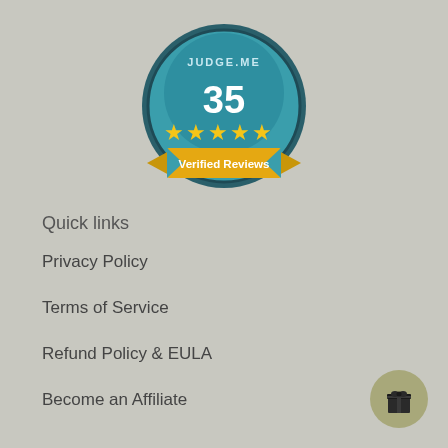[Figure (logo): Judge.me badge showing 35 verified reviews with 5 stars, teal circular badge with gold banner]
Quick links
Privacy Policy
Terms of Service
Refund Policy & EULA
Become an Affiliate
[Figure (illustration): Gift box icon in a circular olive/khaki button in bottom right corner]